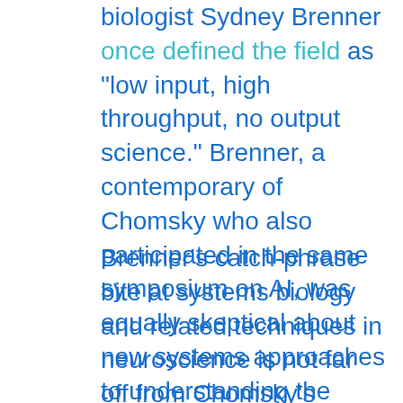biologist Sydney Brenner once defined the field as "low input, high throughput, no output science." Brenner, a contemporary of Chomsky who also participated in the same symposium on AI, was equally skeptical about new systems approaches to understanding the brain. When describing an up-and-coming systems approach to mapping brain circuits called Connectomics, which seeks to map the wiring of all neurons in the brain (i.e. diagramming which nerve cells are connected to others), Brenner called it a "form of insanity."
Brenner's catch-phrase bite at systems biology and related techniques in neuroscience is not far off from Chomsky's criticism of AI. An unlikely pair, systems biology and artificial intelligence both face the same fundamental task of reverse-engineering a highly complex system whose inner workings are largely a mystery. Yet, ever-improving technologies yield massive data related to the system, only a fraction of which